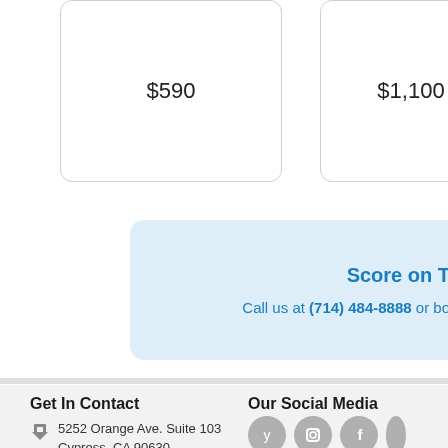$590
$1,100
Score on T
Call us at (714) 484-8888 or bo
Get In Contact
Our Social Media
5252 Orange Ave. Suite 103
Cypress, CA 90630
(714) 484-8888